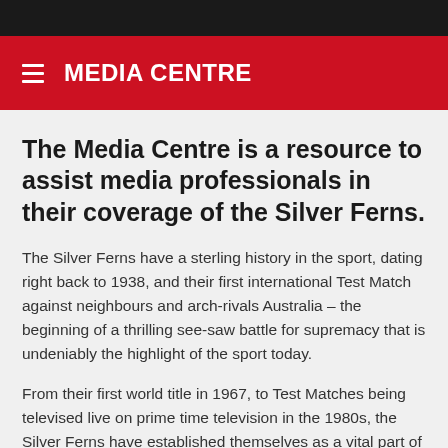MEDIA CENTRE
The Media Centre is a resource to assist media professionals in their coverage of the Silver Ferns.
The Silver Ferns have a sterling history in the sport, dating right back to 1938, and their first international Test Match against neighbours and arch-rivals Australia – the beginning of a thrilling see-saw battle for supremacy that is undeniably the highlight of the sport today.
From their first world title in 1967, to Test Matches being televised live on prime time television in the 1980s, the Silver Ferns have established themselves as a vital part of